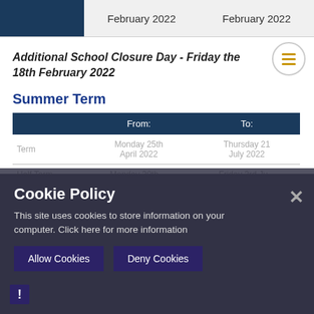February 2022   February 2022
Additional School Closure Day - Friday the 18th February 2022
Summer Term
|  | From: | To: |
| --- | --- | --- |
| Term | Monday 25th April 2022 | Thursday 21 July 2022 |
| Half Term | Monday 30th ... | Friday 3rd Ju... |
Inset Days
Cookie Policy
This site uses cookies to store information on your computer. Click here for more information
Allow Cookies   Deny Cookies